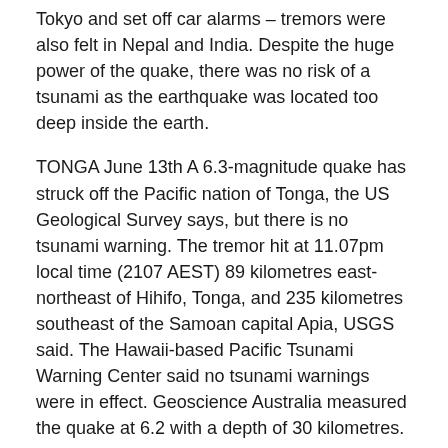Tokyo and set off car alarms – tremors were also felt in Nepal and India. Despite the huge power of the quake, there was no risk of a tsunami as the earthquake was located too deep inside the earth.
TONGA June 13th A 6.3-magnitude quake has struck off the Pacific nation of Tonga, the US Geological Survey says, but there is no tsunami warning. The tremor hit at 11.07pm local time (2107 AEST) 89 kilometres east-northeast of Hihifo, Tonga, and 235 kilometres southeast of the Samoan capital Apia, USGS said. The Hawaii-based Pacific Tsunami Warning Center said no tsunami warnings were in effect. Geoscience Australia measured the quake at 6.2 with a depth of 30 kilometres. Tonga sits on the so-called Pacific Ring of Fire, a region of frequent seismic activity due to collisions between continental plates. – AFP